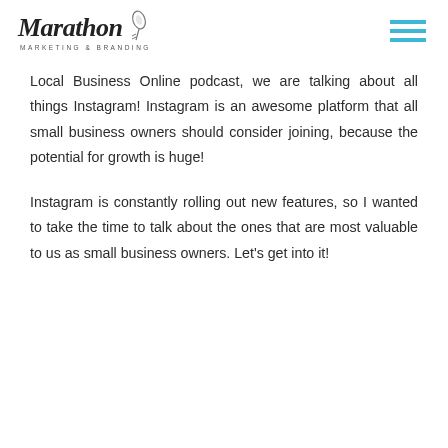Marathon Marketing & Branding
Local Business Online podcast, we are talking about all things Instagram! Instagram is an awesome platform that all small business owners should consider joining, because the potential for growth is huge!
Instagram is constantly rolling out new features, so I wanted to take the time to talk about the ones that are most valuable to us as small business owners. Let's get into it!